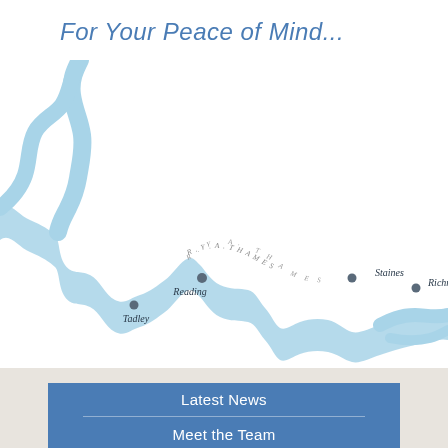For Your Peace of Mind...
[Figure (map): Map showing the River Thames winding from west (upper left) to east (right), with location markers and labels for Reading, Tadley, Staines, and Richmond. The river is rendered in light blue with a wavy outline on a white background. The text 'R.Y.A. THAMES' appears along the river course in spaced italic letters.]
Latest News
Meet the Team